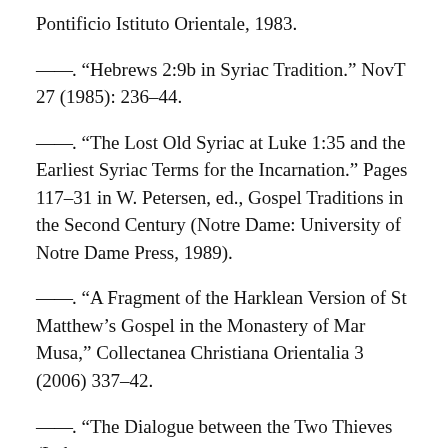Pontificio Istituto Orientale, 1983.
——. “Hebrews 2:9b in Syriac Tradition.” NovT 27 (1985): 236–44.
——. “The Lost Old Syriac at Luke 1:35 and the Earliest Syriac Terms for the Incarnation.” Pages 117–31 in W. Petersen, ed., Gospel Traditions in the Second Century (Notre Dame: University of Notre Dame Press, 1989).
——. “A Fragment of the Harklean Version of St Matthew’s Gospel in the Monastery of Mar Musa,” Collectanea Christiana Orientalia 3 (2006) 337–42.
——. “The Dialogue between the Two Thieves (Luke ...)” The Hugoye (no. 6) [Festschrift I...